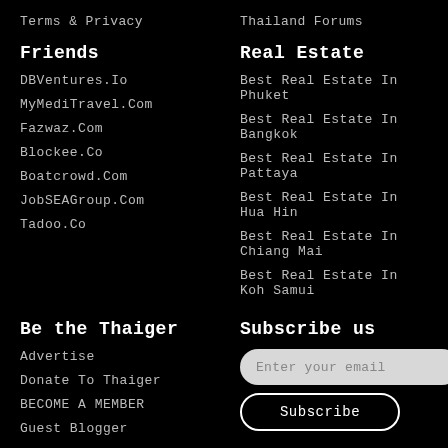Terms & Privacy
Thailand Forums
Friends
Real Estate
DBVentures.Io
Best Real Estate In Phuket
MyMediTravel.Com
Best Real Estate In Bangkok
Fazwaz.Com
Best Real Estate In Pattaya
Blockee.Co
Best Real Estate In Hua Hin
Boatcrowd.Com
Best Real Estate In Chiang Mai
JobSEAGroup.Com
Best Real Estate In Koh Samui
Tadoo.Co
Be the Thaiger
Subscribe us
Advertise
Donate To Thaiger
BECOME A MEMBER
Guest Blogger